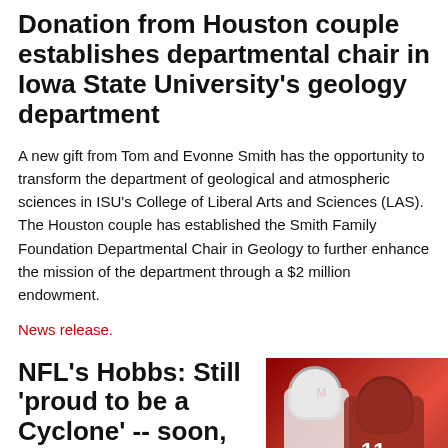Donation from Houston couple establishes departmental chair in Iowa State University's geology department
A new gift from Tom and Evonne Smith has the opportunity to transform the department of geological and atmospheric sciences in ISU's College of Liberal Arts and Sciences (LAS). The Houston couple has established the Smith Family Foundation Departmental Chair in Geology to further enhance the mission of the department through a $2 million endowment.
News release.
NFL's Hobbs: Still 'proud to be a Cyclone' -- soon, with the degree to prove it
[Figure (photo): Photo of two football players in game action, one in white and one in red uniforms, with jersey number 11 visible]